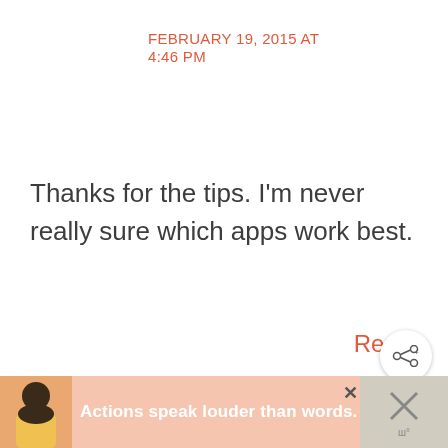FEBRUARY 19, 2015 AT 4:46 PM
Thanks for the tips. I'm never really sure which apps work best.
Reply
CHRISTINE LUKEN
FEBRUARY 19, 2015 AT 3:39 PM
[Figure (other): Advertisement banner with person illustration and text 'Actions speak louder than words.']